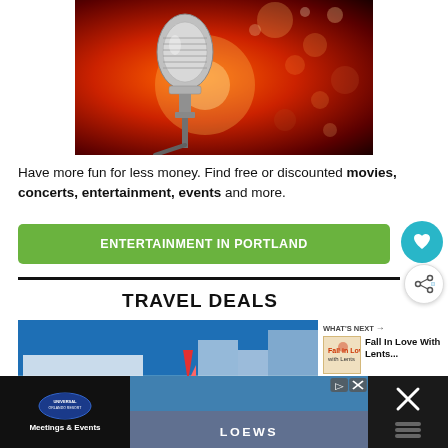[Figure (photo): Vintage chrome microphone against a warm red-orange bokeh background with glowing lights]
Have more fun for less money. Find free or discounted movies, concerts, entertainment, events and more.
ENTERTAINMENT IN PORTLAND
TRAVEL DEALS
[Figure (photo): Travel destination photo showing a resort or waterfront hotel scene with blue sky and a red sailboat]
WHAT'S NEXT → Fall In Love With Lents...
[Figure (photo): Advertisement bar: Universal Orlando Resort Meetings & Events on left, Loews Hotels in center, and an X close button on right]